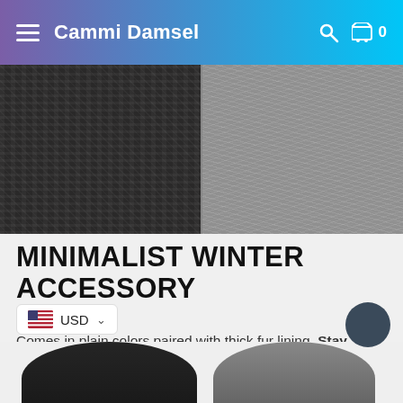Cammi Damsel
[Figure (photo): Close-up of dark knit fabric texture (left) and grey fur lining texture (right), showing product materials for a winter accessory]
MINIMALIST WINTER ACCESSORY
Comes in plain colors paired with thick fur lining. Stay fashionable and in style even when battling the cold. Pair this with your parka, coats, sweater, dress, and jackets. You can also reverse it to complement your clothes if you like.
[Figure (photo): Partial bottom view of two winter hats - one black knit hat on the left and one grey knit hat on the right]
USD